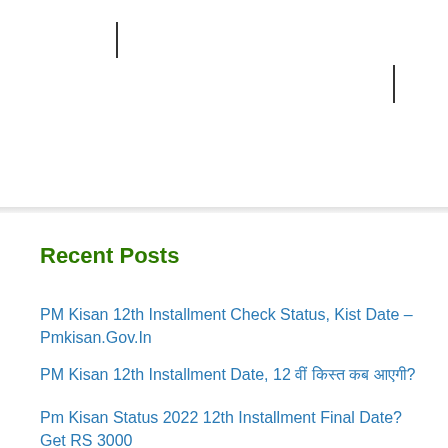Recent Posts
PM Kisan 12th Installment Check Status, Kist Date – Pmkisan.Gov.In
PM Kisan 12th Installment Date, 12 वीं किस्त कब आएगी?
Pm Kisan Status 2022 12th Installment Final Date? Get RS 3000
Pm Kisan Online Correction, Edit Details Name,